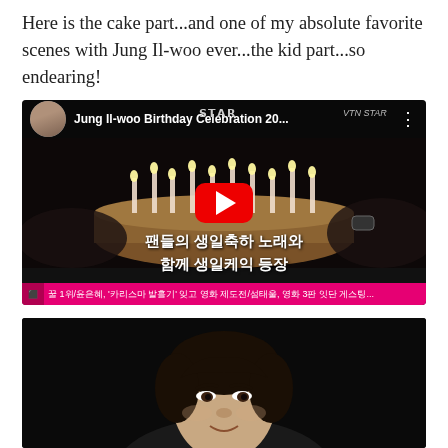Here is the cake part...and one of my absolute favorite scenes with Jung Il-woo ever...the kid part...so endearing!
[Figure (screenshot): YouTube video thumbnail showing Jung Il-woo Birthday Celebration with a birthday cake with lit candles, a red YouTube play button in the center, Korean text subtitles reading '팬들의 생일축하 노래와 함께 생일케익 등장', and a pink ticker bar at the bottom with Korean text.]
[Figure (photo): Photo of a young Korean man with dark hair against a dark background, smiling slightly, visible from about chest level up.]